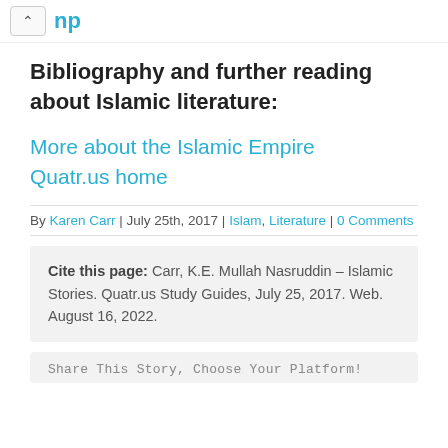np
Bibliography and further reading about Islamic literature:
More about the Islamic Empire
Quatr.us home
By Karen Carr | July 25th, 2017 | Islam, Literature | 0 Comments
Cite this page: Carr, K.E. Mullah Nasruddin – Islamic Stories. Quatr.us Study Guides, July 25, 2017. Web. August 16, 2022.
Share This Story, Choose Your Platform!